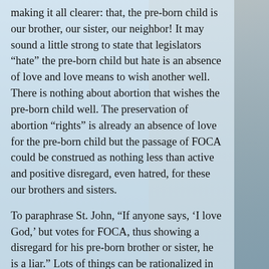…making it all clearer: that, the pre-born child is our brother, our sister, our neighbor! It may sound a little strong to state that legislators “hate” the pre-born child but hate is an absence of love and love means to wish another well. There is nothing about abortion that wishes the pre-born child well. The preservation of abortion “rights” is already an absence of love for the pre-born child but the passage of FOCA could be construed as nothing less than active and positive disregard, even hatred, for these our brothers and sisters.
To paraphrase St. John, “If anyone says, ‘I love God,’ but votes for FOCA, thus showing a disregard for his pre-born brother or sister, he is a liar.” Lots of things can be rationalized in government but I do not see any way in which any Catholic could rationalize or justify an affirmative vote for FOCA. It is not necessary for